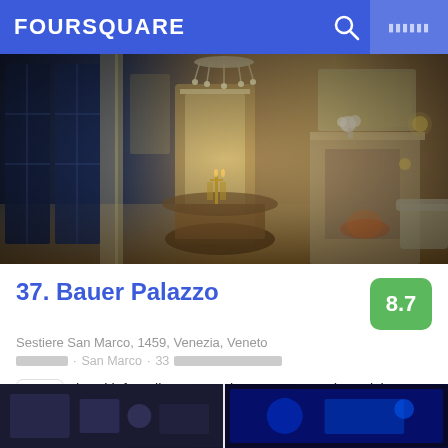FOURSQUARE
[Figure (photo): Interior of Bauer Palazzo hotel showing an ornate Venetian room with chandelier, large windows, round table, fireplace with candelabra, gilded mirrors and wall decorations]
37. Bauer Palazzo
Sestiere San Marco, 1459, Venezia, Veneto
█████ · San Marco · 33 █████████████████████
hotel.info Italia: Masterpiece. Masquerades. Visit Venice at Carnival time ████████████
[Figure (photo): Two small thumbnail photos at the bottom of the page showing dark interior venue shots]